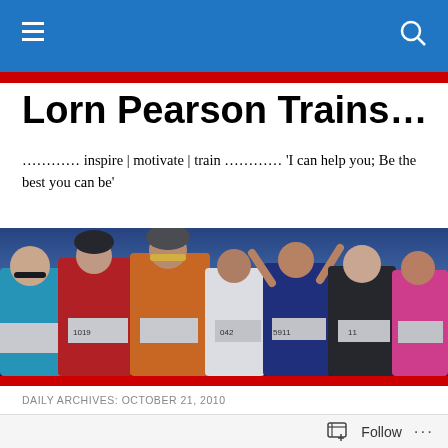Navigation bar with hamburger menu and search icon
Lorn Pearson Trains…
………… inspire | motivate | train ………… 'I can help you; Be the best you can be'
[Figure (photo): Group of athletes/runners celebrating at a race event, wearing race bibs, helmets and colourful sports gear, arms raised, outdoors with blue sky background]
DAILY ARCHIVES: OCTOBER 21, 2010
Wk42 – Weight
Follow …